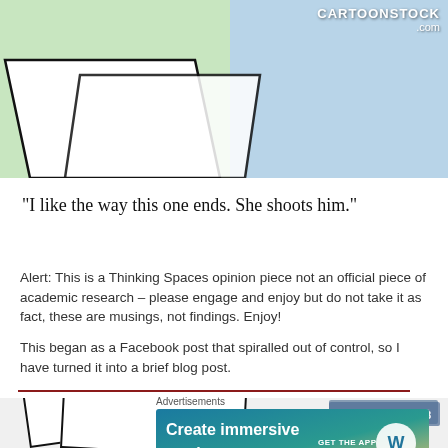[Figure (illustration): Partial cartoon image from CartoonStock.com showing a green and blue background with diagonal white card shapes. Search ID: mfln9128]
"I like the way this one ends. She shoots him."
Alert: This is a Thinking Spaces opinion piece not an official piece of academic research – please engage and enjoy but do not take it as fact, these are musings, not findings. Enjoy!
This began as a Facebook post that spiralled out of control, so I have turned it into a brief blog post.
Advertisements
[Figure (screenshot): WordPress advertisement banner: 'Create immersive stories. GET THE APP' with WordPress logo]